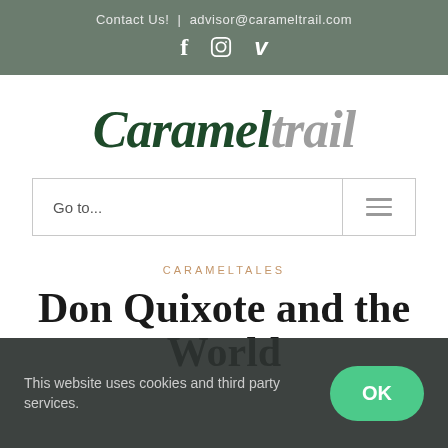Contact Us! | advisor@carameltrail.com
[Figure (other): Social media icons: Facebook (f), Instagram, Vimeo (v)]
Carameltrail
Go to...
CARAMELTALES
Don Quixote and the World
This website uses cookies and third party services.